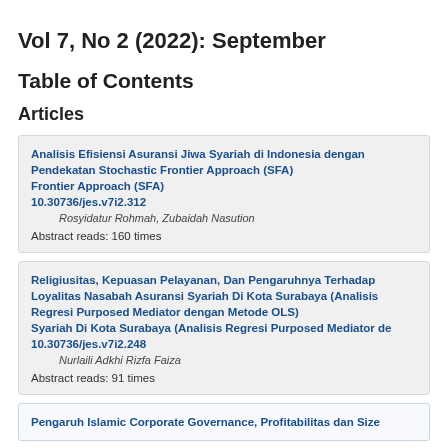Vol 7, No 2 (2022): September
Table of Contents
Articles
Analisis Efisiensi Asuransi Jiwa Syariah di Indonesia dengan Pendekatan Stochastic Frontier Approach (SFA)
10.30736/jes.v7i2.312
Rosyidatur Rohmah, Zubaidah Nasution
Abstract reads: 160 times
Religiusitas, Kepuasan Pelayanan, Dan Pengaruhnya Terhadap Loyalitas Nasabah Asuransi Syariah Di Kota Surabaya (Analisis Regresi Purposed Mediator dengan Metode OLS)
10.30736/jes.v7i2.248
Nurlaili Adkhi Rizfa Faiza
Abstract reads: 91 times
Pengaruh Islamic Corporate Governance, Profitabilitas dan Size...